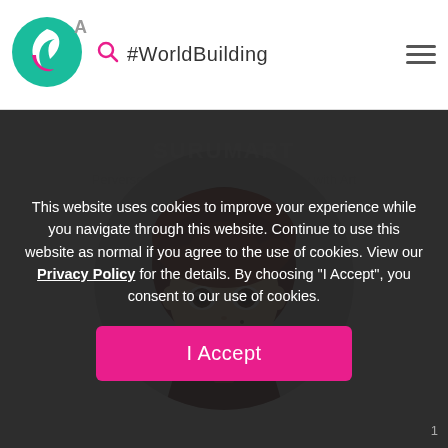A #WorldBuilding
[Figure (illustration): Anime-style girl avatar with dark red hair, open mouth, inside circular frame on gray background]
This website uses cookies to improve your experience while you navigate through this website. Continue to use this website as normal if you agree to the use of cookies. View our Privacy Policy for the details. By choosing "I Accept", you consent to our use of cookies.
I Accept